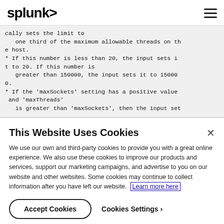splunk>
cally sets the limit to
   one third of the maximum allowable threads on the host.
* If this number is less than 20, the input sets it to 20. If this number is
   greater than 150000, the input sets it to 150000.
* If the 'maxSockets' setting has a positive value and 'maxThreads'
   is greater than 'maxSockets', then the input set
This Website Uses Cookies
We use our own and third-party cookies to provide you with a great online experience. We also use these cookies to improve our products and services, support our marketing campaigns, and advertise to you on our website and other websites. Some cookies may continue to collect information after you have left our website. Learn more here
Accept Cookies
Cookies Settings ›